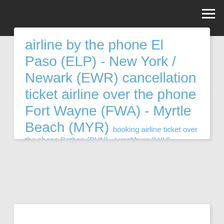airline by the phone El Paso (ELP) - New York / Newark (EWR) cancellation ticket airline over the phone Fort Wayne (FWA) - Myrtle Beach (MYR) booking airline ticket over the phone Dothan (DHN) - Lynchburg (LYH) cancel ticket by the phone Allentown (ABE) to Rock Springs (RKS) cancel flight ticket by the phone Norfolk (ORF) to Santa Rosa (STS)